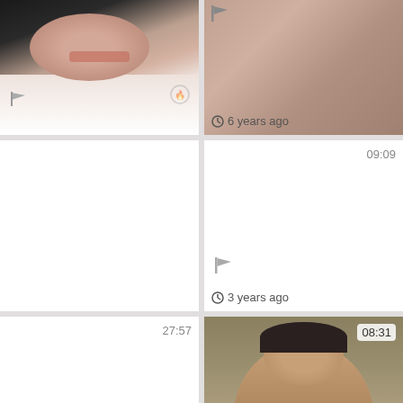[Figure (screenshot): Video thumbnail grid - top left: partial face image]
6 years ago
[Figure (screenshot): Video thumbnail - blank with duration 09:09]
3 years ago
[Figure (screenshot): Video thumbnail - blank with duration 27:57]
3 years ago
[Figure (photo): Male figure selfie video thumbnail with duration 08:31]
3 years ago
[Figure (screenshot): Video thumbnail bottom left - blank with duration 06:13]
[Figure (screenshot): Video thumbnail bottom right - blank]